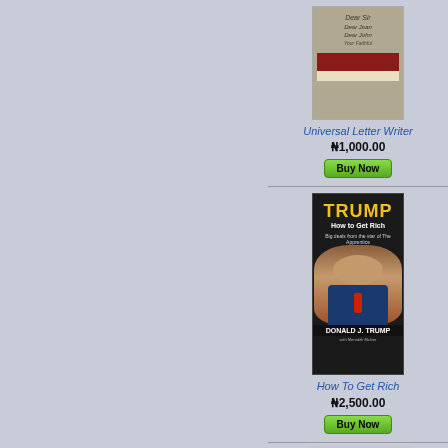[Figure (photo): Book cover: Universal Letter Writer - shows handwritten letter text]
Universal Letter Writer
N1,000.00
[Figure (photo): Book cover: Trump How to Get Rich by Donald J. Trump - black background with yellow TRUMP title text and photo of Donald Trump]
How To Get Rich
N2,500.00
[Figure (photo): Placeholder book image with text IMAGE NOT AVAILABLE]
Formulation, Implementation, and Control of Competitive Strategy